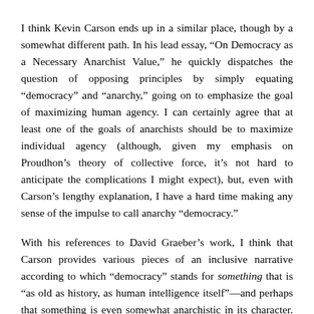I think Kevin Carson ends up in a similar place, though by a somewhat different path. In his lead essay, “On Democracy as a Necessary Anarchist Value,” he quickly dispatches the question of opposing principles by simply equating “democracy” and “anarchy,” going on to emphasize the goal of maximizing human agency. I can certainly agree that at least one of the goals of anarchists should be to maximize individual agency (although, given my emphasis on Proudhon’s theory of collective force, it’s not hard to anticipate the complications I might expect), but, even with Carson’s lengthy explanation, I have a hard time making any sense of the impulse to call anarchy “democracy.”
With his references to David Graeber’s work, I think that Carson provides various pieces of an inclusive narrative according to which “democracy” stands for something that is “as old as history, as human intelligence itself”—and perhaps that something is even somewhat anarchistic in its character. And I understand the impulse behind Graeber’s defense of a “democracy” that is not narrowly defined by a western philosophical canon. But, honestly, Graeber’s rhetoric is not reassuring. When he claims that that